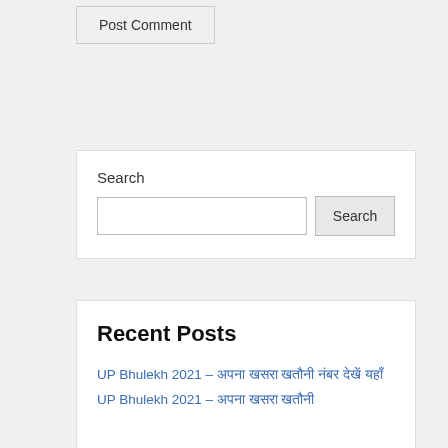Post Comment
Search
Search
Recent Posts
UP Bhulekh 2021 – अपना खसरा खतौनी नंबर देखें यहाँ
UP Bhulekh 2021 – अपना खसरा खतौनी